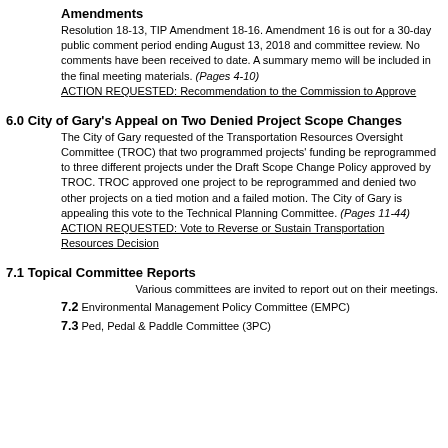Amendments
Resolution 18-13, TIP Amendment 18-16. Amendment 16 is out for a 30-day public comment period ending August 13, 2018 and committee review. No comments have been received to date. A summary memo will be included in the final meeting materials. (Pages 4-10)
ACTION REQUESTED: Recommendation to the Commission to Approve
6.0 City of Gary's Appeal on Two Denied Project Scope Changes
The City of Gary requested of the Transportation Resources Oversight Committee (TROC) that two programmed projects' funding be reprogrammed to three different projects under the Draft Scope Change Policy approved by TROC. TROC approved one project to be reprogrammed and denied two other projects on a tied motion and a failed motion. The City of Gary is appealing this vote to the Technical Planning Committee. (Pages 11-44)
ACTION REQUESTED: Vote to Reverse or Sustain Transportation Resources Decision
7.1 Topical Committee Reports
Various committees are invited to report out on their meetings.
7.2 Environmental Management Policy Committee (EMPC)
7.3 Ped, Pedal & Paddle Committee (3PC)